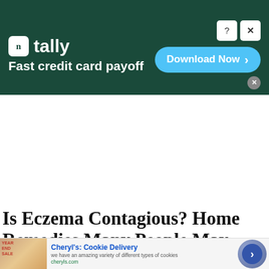[Figure (screenshot): Tally app advertisement banner with dark green background. Shows 'tally' logo with white icon and tagline 'Fast credit card payoff'. Has 'Download Now' button with blue background and arrow, plus close/help icons.]
Is Eczema Contagious? Home Remedies Many People May Not Know
[Figure (screenshot): Advertisement for Cheryl's Cookie Delivery. Shows cookie image on left, 'Cheryl's: Cookie Delivery' title in blue, description text 'we have an amazing variety of different types of cookies', URL 'cheryls.com', and arrow button on right.]